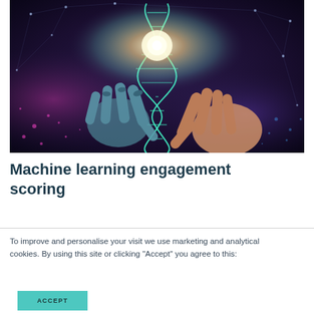[Figure (illustration): A robot hand and human hand both reaching toward a glowing DNA double helix, set against a dark cosmic background with digital network patterns. Evokes AI and biological science convergence.]
Machine learning engagement scoring
To improve and personalise your visit we use marketing and analytical cookies. By using this site or clicking "Accept" you agree to this: